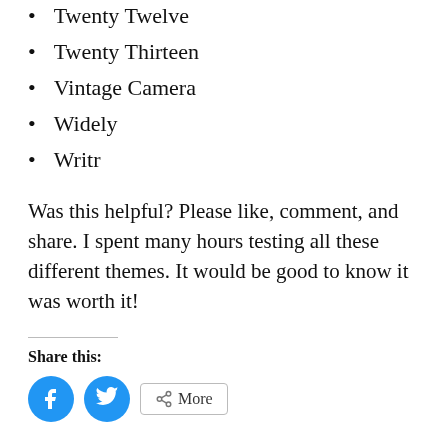Twenty Twelve
Twenty Thirteen
Vintage Camera
Widely
Writr
Was this helpful? Please like, comment, and share. I spent many hours testing all these different themes. It would be good to know it was worth it!
Share this: